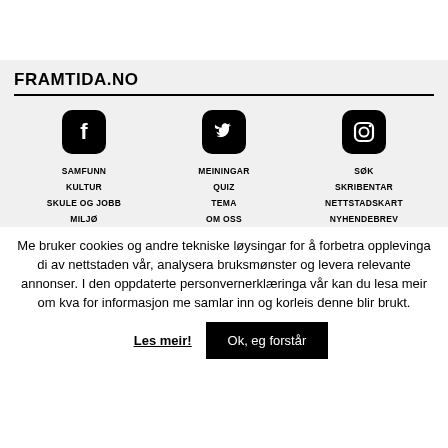FRAMTIDA.NO
[Figure (logo): Facebook logo icon (white F on black rounded square)]
[Figure (logo): Twitter logo icon (white bird on black rounded square)]
[Figure (logo): Instagram logo icon (white camera outline on black rounded square)]
SAMFUNN
MEININGAR
SØK
KULTUR
QUIZ
SKRIBENTAR
SKULE OG JOBB
TEMA
NETTSTADSKART
MILJØ
OM OSS
NYHENDEBREV
Me bruker cookies og andre tekniske løysingar for å forbetra opplevinga di av nettstaden vår, analysera bruksmønster og levera relevante annonser. I den oppdaterte personvernerklæringa vår kan du lesa meir om kva for informasjon me samlar inn og korleis denne blir brukt.
Les meir!   Ok, eg forstår